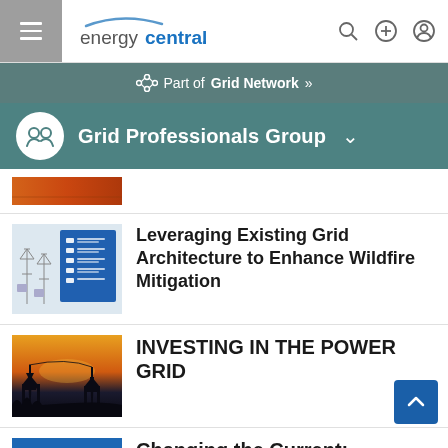energycentral. navigation bar with hamburger menu, search, add, and profile icons
Part of Grid Network »
Grid Professionals Group
[Figure (screenshot): Partial article thumbnail showing industrial/infrastructure image]
[Figure (screenshot): Article thumbnail: Leveraging Energy in a Document - grid architecture diagram with blue checklist overlay]
Leveraging Existing Grid Architecture to Enhance Wildfire Mitigation
[Figure (photo): Photo of electricity transmission towers/pylons at sunset with orange sky]
INVESTING IN THE POWER GRID
[Figure (screenshot): Partial blue thumbnail for Changing the Current article]
Changing the Current: